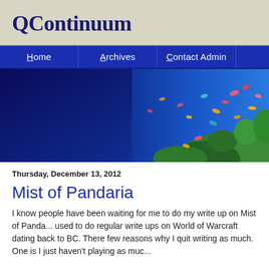QContinuum
Home | Archives | Contact Admin
[Figure (photo): Underwater scene with colorful tropical fish swimming among green coral reef against a deep blue ocean background]
Thursday, December 13, 2012
Mist of Pandaria
I know people have been waiting for me to do my write up on Mist of Panda... used to do regular write ups on World of Warcraft dating back to BC. There few reasons why I quit writing as much. One is I just haven't playing as muc...